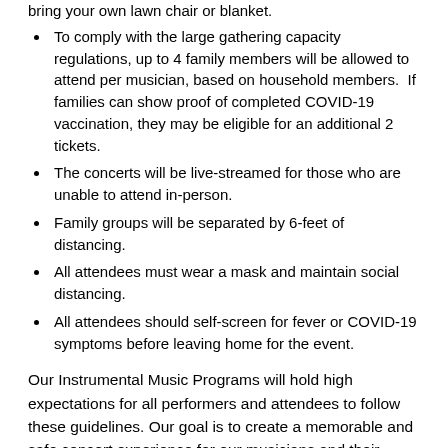bring your own lawn chair or blanket.
To comply with the large gathering capacity regulations, up to 4 family members will be allowed to attend per musician, based on household members.  If families can show proof of completed COVID-19 vaccination, they may be eligible for an additional 2 tickets.
The concerts will be live-streamed for those who are unable to attend in-person.
Family groups will be separated by 6-feet of distancing.
All attendees must wear a mask and maintain social distancing.
All attendees should self-screen for fever or COVID-19 symptoms before leaving home for the event.
Our Instrumental Music Programs will hold high expectations for all performers and attendees to follow these guidelines. Our goal is to create a memorable and safe concert experience for our musicians and their families. As more details evolve, we will continue to keep you updated via email, text and social media.